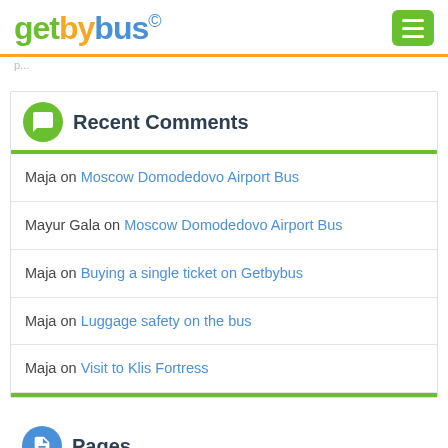getbybus©
Recent Comments
Maja on Moscow Domodedovo Airport Bus
Mayur Gala on Moscow Domodedovo Airport Bus
Maja on Buying a single ticket on Getbybus
Maja on Luggage safety on the bus
Maja on Visit to Klis Fortress
Pages